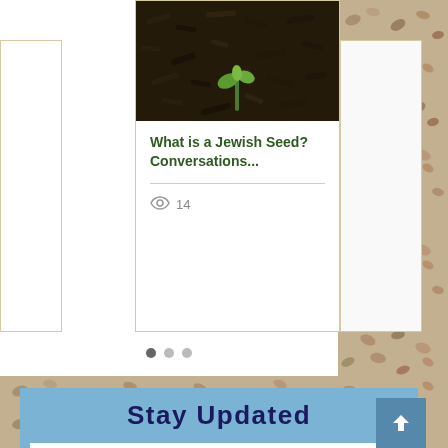[Figure (screenshot): Website screenshot showing a blog card with a dark soil/mulch image with a small green sprout, titled 'What is a Jewish Seed? Conversations...' with a view count of 14. Below are carousel navigation dots. At the bottom is a 'Stay Updated' form section with blue background, Name and Email input fields.]
What is a Jewish Seed? Conversations...
14
Stay Updated
Name *
Email *